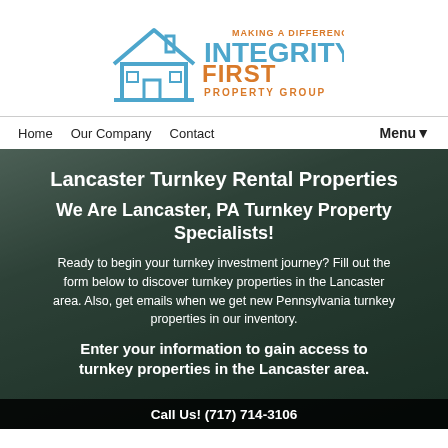[Figure (logo): Integrity First Property Group logo — house outline in blue with text: MAKING A DIFFERENCE (orange, small caps), INTEGRITY (blue, large), FIRST (orange, large), PROPERTY GROUP (orange, small caps)]
Home   Our Company   Contact   Menu▼
Lancaster Turnkey Rental Properties
We Are Lancaster, PA Turnkey Property Specialists!
Ready to begin your turnkey investment journey? Fill out the form below to discover turnkey properties in the Lancaster area. Also, get emails when we get new Pennsylvania turnkey properties in our inventory.
Enter your information to gain access to turnkey properties in the Lancaster area.
Call Us! (717) 714-3106